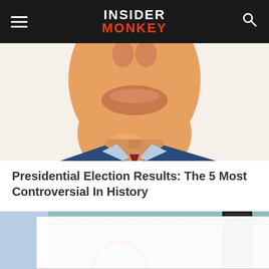Insider Monkey
[Figure (illustration): Cartoon illustration of a person with an exaggerated face, wearing a suit with a blue collar, orange/tan skin tones, viewed from slightly below chin level]
Presidential Election Results: The 5 Most Controversial In History
[Figure (photo): Photo of a building facade showing a vertical sign reading 'IFOR' (partial text, appears to be 'CALIFORNIA' or similar theater/landmark sign), light teal/mint colored building, blue sky background, bare winter trees on left]
[Figure (other): White advertisement overlay box with close (x) button in upper right corner]